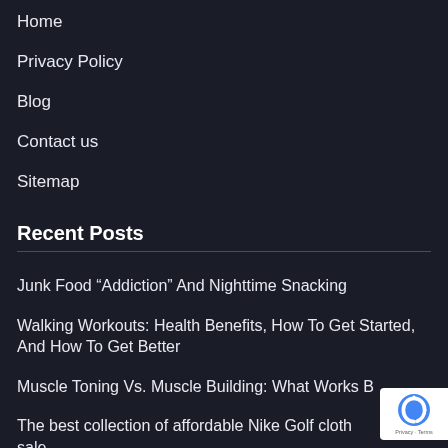Home
Privacy Policy
Blog
Contact us
Sitemap
Recent Posts
Junk Food “Addiction” And Nighttime Snacking
Walking Workouts: Health Benefits, How To Get Started, And How To Get Better
Muscle Toning Vs. Muscle Building: What Works B…
The best collection of affordable Nike Golf cloth… sale